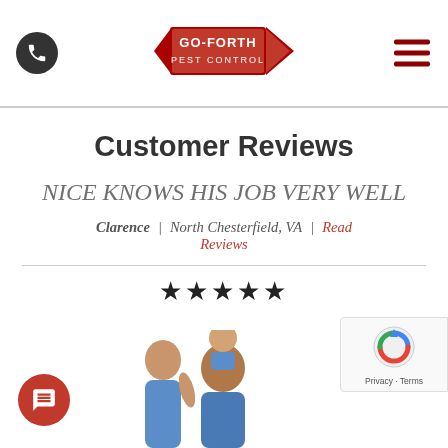[Figure (logo): Go-Forth Pest Control logo — red arrow shape with company name]
Customer Reviews
NICE KNOWS HIS JOB VERY WELL
Clarence | North Chesterfield, VA | Read Reviews
[Figure (other): Five black star rating icons]
[Figure (photo): Family photo showing a man with a child on his shoulders and a woman beside them]